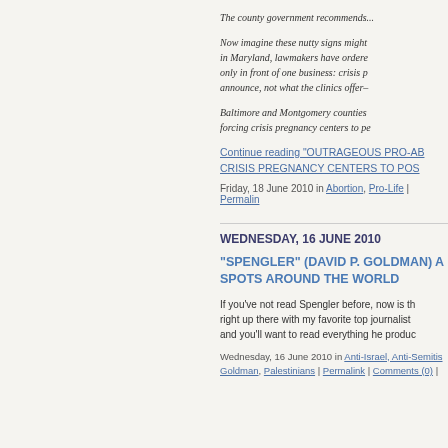The county government recommends...
Now imagine these nutty signs might... in Maryland, lawmakers have ordered... only in front of one business: crisis p... announce, not what the clinics offer–
Baltimore and Montgomery counties... forcing crisis pregnancy centers to pe...
Continue reading "OUTRAGEOUS PRO-AB... CRISIS PREGNANCY CENTERS TO POS...
Friday, 18 June 2010 in Abortion, Pro-Life | Permalink
WEDNESDAY, 16 JUNE 2010
"SPENGLER" (DAVID P. GOLDMAN) A... SPOTS AROUND THE WORLD
If you've not read Spengler before, now is th... right up there with my favorite top journalist... and you'll want to read everything he produc...
Wednesday, 16 June 2010 in Anti-Israel, Anti-Semitis... Goldman, Palestinians | Permalink | Comments (0) |